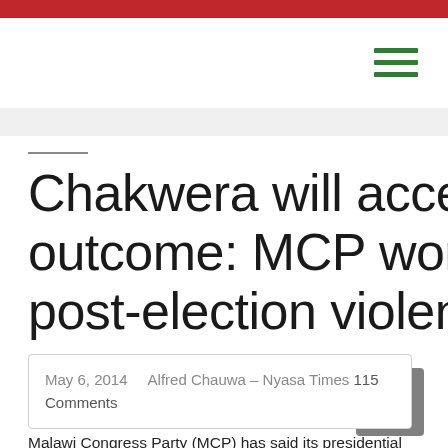Chakwera will accept election outcome: MCP won't back DPP post-election violence
May 6, 2014   Alfred Chauwa – Nyasa Times 115 Comments
Malawi Congress Party (MCP) has said its presidential